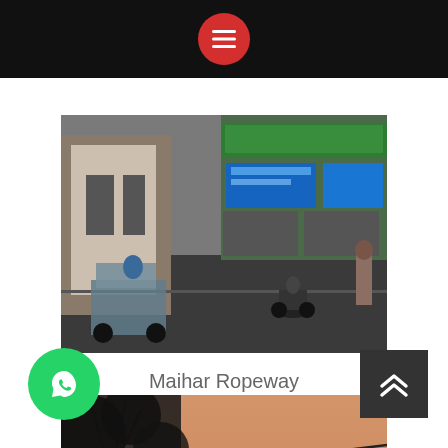Navigation menu header bar with hamburger icon
[Figure (photo): Street scene photo showing an Indian market road with motorcycle riders, shops with signboards, overcast day]
Maihar Ropeway
[Figure (photo): Ropeway tower/pylon structure at Maihar with cables, orange/yellow painted metal structure, red flag on top, dusk/sunset sky in background]